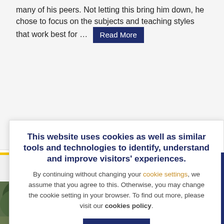many of his peers. Not letting this bring him down, he chose to focus on the subjects and teaching styles that work best for … Read More
♥ 0
Insights Fro… Computing … Valedictoria…
[Figure (photo): Photo of trees and outdoor scenery, partially visible at bottom left of page]
This website uses cookies as well as similar tools and technologies to identify, understand and improve visitors' experiences. By continuing without changing your cookie settings, we assume that you agree to this. Otherwise, you may change the cookie setting in your browser. To find out more, please visit our cookies policy.
CLOSE